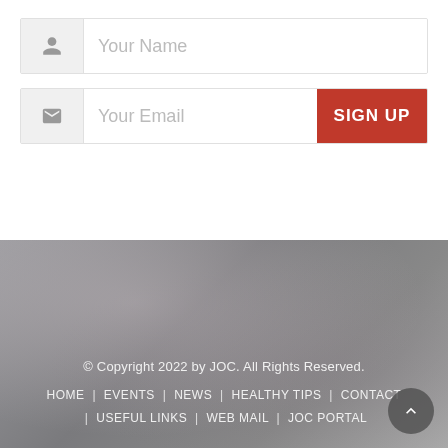Your Name
Your Email
SIGN UP
© Copyright 2022 by JOC. All Rights Reserved.
HOME | EVENTS | NEWS | HEALTHY TIPS | CONTACT | USEFUL LINKS | WEB MAIL | JOC PORTAL